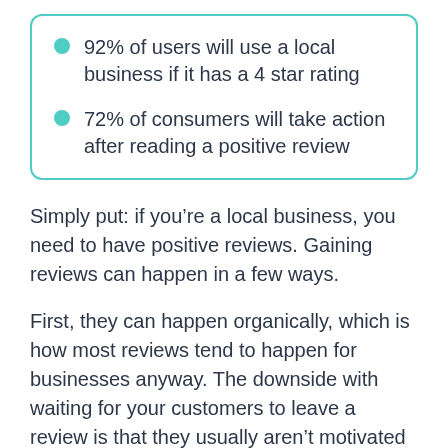92% of users will use a local business if it has a 4 star rating
72% of consumers will take action after reading a positive review
Simply put: if you’re a local business, you need to have positive reviews. Gaining reviews can happen in a few ways.
First, they can happen organically, which is how most reviews tend to happen for businesses anyway. The downside with waiting for your customers to leave a review is that they usually aren’t motivated to do so, which means fewer reviews and possibly